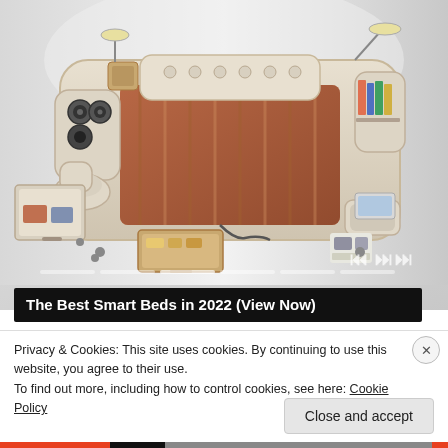[Figure (photo): A large multi-functional smart bed with integrated speakers, massage chair, storage drawers, reading lamps, laptop tray, and recliner seat. The bed is beige/cream colored with a brown/orange comforter. Multiple open drawers and accessories are visible around the bed frame.]
The Best Smart Beds in 2022 (View Now)
Privacy & Cookies: This site uses cookies. By continuing to use this website, you agree to their use.
To find out more, including how to control cookies, see here: Cookie Policy
Close and accept